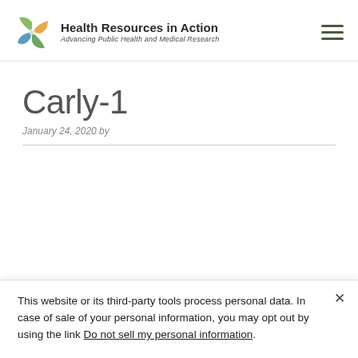Health Resources in Action — Advancing Public Health and Medical Research
Carly-1
January 24, 2020 by
This website or its third-party tools process personal data. In case of sale of your personal information, you may opt out by using the link Do not sell my personal information.